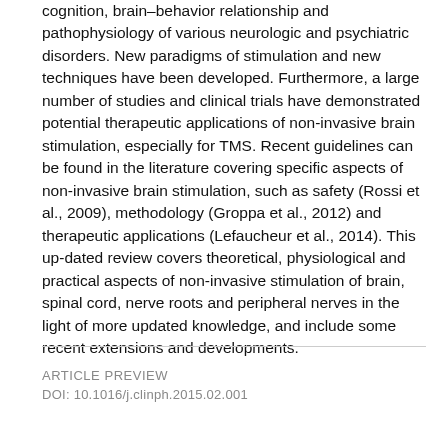cognition, brain–behavior relationship and pathophysiology of various neurologic and psychiatric disorders. New paradigms of stimulation and new techniques have been developed. Furthermore, a large number of studies and clinical trials have demonstrated potential therapeutic applications of non-invasive brain stimulation, especially for TMS. Recent guidelines can be found in the literature covering specific aspects of non-invasive brain stimulation, such as safety (Rossi et al., 2009), methodology (Groppa et al., 2012) and therapeutic applications (Lefaucheur et al., 2014). This up-dated review covers theoretical, physiological and practical aspects of non-invasive stimulation of brain, spinal cord, nerve roots and peripheral nerves in the light of more updated knowledge, and include some recent extensions and developments.
ARTICLE PREVIEW
DOI: 10.1016/j.clinph.2015.02.001